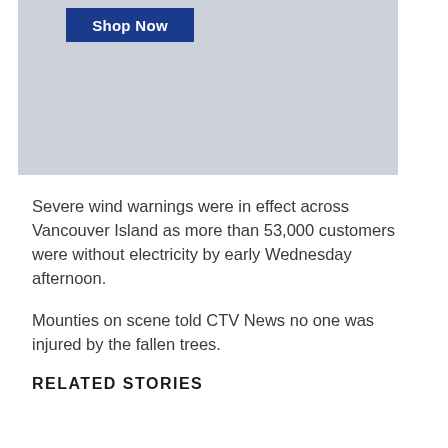[Figure (other): Advertisement box with light blue-gray background and a dark blue 'Shop Now' button in the upper left area]
Severe wind warnings were in effect across Vancouver Island as more than 53,000 customers were without electricity by early Wednesday afternoon.
Mounties on scene told CTV News no one was injured by the fallen trees.
RELATED STORIES